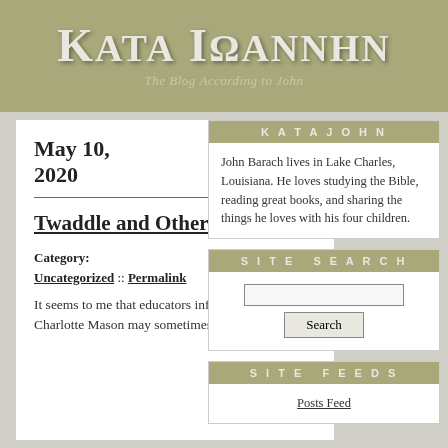KATA IΩANNHN — The Blog According to John
May 10, 2020
Twaddle and Other Categories
Category: Uncategorized :: Permalink
It seems to me that educators influenced by Charlotte Mason may sometimes try to pack too
KATAJOHN
John Barach lives in Lake Charles, Louisiana. He loves studying the Bible, reading great books, and sharing the things he loves with his four children.
SITE SEARCH
SITE FEEDS
Posts Feed